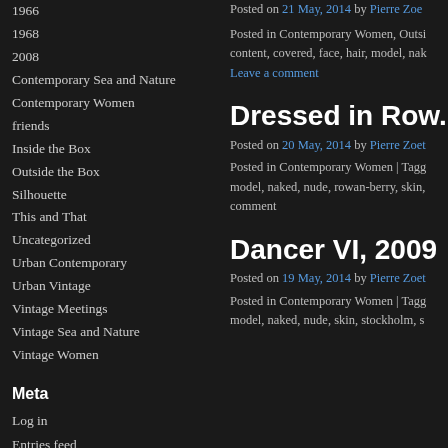1966
1968
2008
Contemporary Sea and Nature
Contemporary Women
friends
Inside the Box
Outside the Box
Silhouette
This and That
Uncategorized
Urban Contemporary
Urban Vintage
Vintage Meetings
Vintage Sea and Nature
Vintage Women
Meta
Log in
Entries feed
Comments feed
WordPress.org
Posted on 21 May, 2014 by Pierre Zoe...
Posted in Contemporary Women, Outsi... content, covered, face, hair, model, nak... Leave a comment
Dressed in Row...
Posted on 20 May, 2014 by Pierre Zoet...
Posted in Contemporary Women | Tagg... model, naked, nude, rowan-berry, skin, ... comment
Dancer VI, 2009
Posted on 19 May, 2014 by Pierre Zoet...
Posted in Contemporary Women | Tagg... model, naked, nude, skin, stockholm, s...